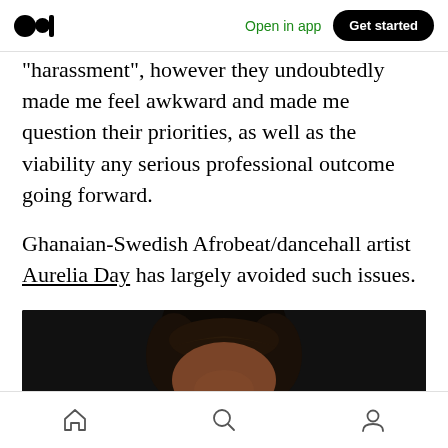Medium logo | Open in app | Get started
“harassment”, however they undoubtedly made me feel awkward and made me question their priorities, as well as the viability any serious professional outcome going forward.

Ghanaian-Swedish Afrobeat/dancehall artist Aurelia Day has largely avoided such issues.
[Figure (photo): Portrait photo of a woman with dark braided hair against a black background, eyes looking upward toward camera, face partially cropped at bottom of frame.]
Navigation bar with home, search, and profile icons